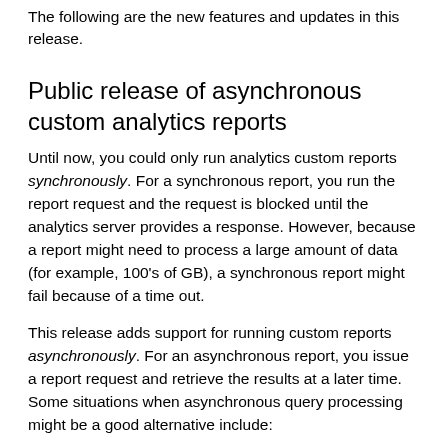The following are the new features and updates in this release.
Public release of asynchronous custom analytics reports
Until now, you could only run analytics custom reports synchronously. For a synchronous report, you run the report request and the request is blocked until the analytics server provides a response. However, because a report might need to process a large amount of data (for example, 100's of GB), a synchronous report might fail because of a time out.
This release adds support for running custom reports asynchronously. For an asynchronous report, you issue a report request and retrieve the results at a later time. Some situations when asynchronous query processing might be a good alternative include: